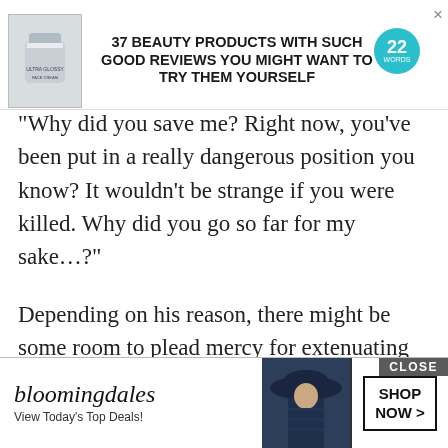[Figure (other): Advertisement banner: product jar image, text '37 BEAUTY PRODUCTS WITH SUCH GOOD REVIEWS YOU MIGHT WANT TO TRY THEM YOURSELF', teal badge with '22', close X button]
“Why did you save me? Right now, you’ve been put in a really dangerous position you know? It wouldn’t be strange if you were killed. Why did you go so far for my sake…?”
Depending on his reason, there might be some room to plead mercy for extenuating circumstances.
So Lumia hoped above all else that Glen would be able to answer her honestly—
“Ah-, who knows? Maybe I’ve fallen in love with you or something? You know, it’s—
[Figure (other): Bloomingdale's advertisement banner with logo, 'View Today's Top Deals!' text, fashion model photo with hat, and 'SHOP NOW >' button]